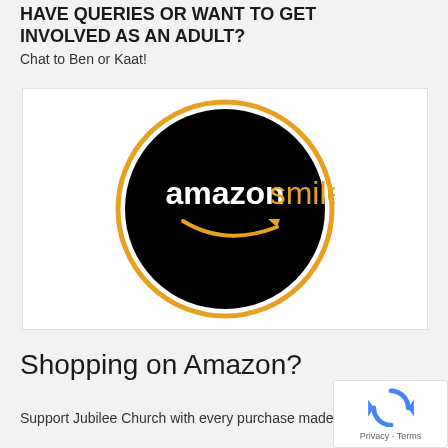HAVE QUERIES OR WANT TO GET INVOLVED AS AN ADULT?
Chat to Ben or Kaat!
[Figure (logo): Amazon Smile logo: black circle with orange border, white text 'amazonsmile' with the Amazon arrow smile graphic underneath in orange]
Shopping on Amazon?
Support Jubilee Church with every purchase made